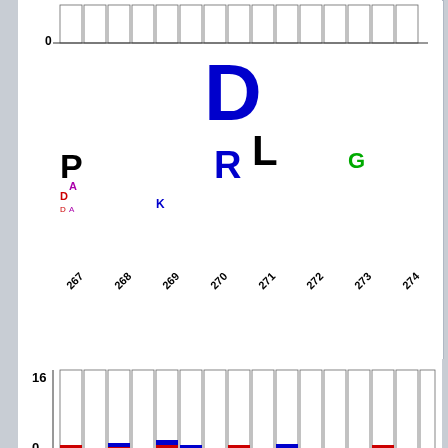[Figure (other): Sequence logo showing amino acid conservation at positions 267-274, with letters D, P, K, R, L, G and others stacked at various positions. Below the logo is a bar chart with 16 as max y-axis value and 0 as min, showing small colored segments (red and blue) at the bottom of mostly empty bars.]
Weblogos are Copyri...
Please Cite: Peterson, T.A., Adadey, A., Santana-Cruz ,I., Sun, Y., Winder A...
DMDM_info@umbc.edu  |  1000 Hilltop Circle, B...